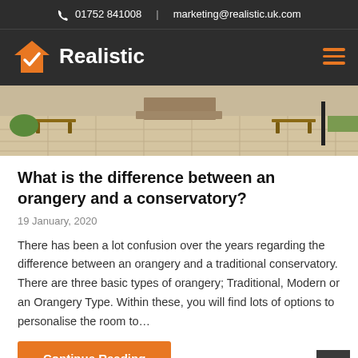01752 841008  |  marketing@realistic.uk.com
[Figure (logo): Realistic logo with orange house icon and white bold text 'Realistic' on dark background, with orange hamburger menu icon on right]
[Figure (photo): Outdoor patio area with stone paving, wooden garden furniture, brick steps and green lawn in background]
What is the difference between an orangery and a conservatory?
19 January, 2020
There has been a lot confusion over the years regarding the difference between an orangery and a traditional conservatory. There are three basic types of orangery; Traditional, Modern or an Orangery Type. Within these, you will find lots of options to personalise the room to…
Continue Reading